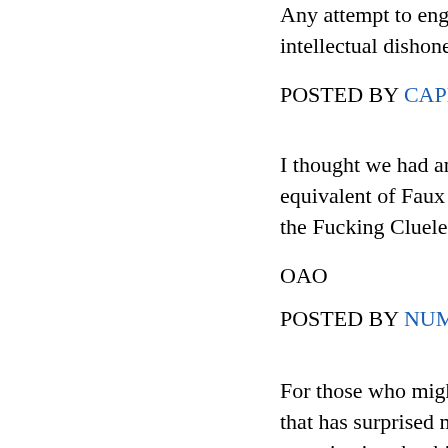Any attempt to engage in intellectual dishonesty wi...
POSTED BY CAPEDCR...
I thought we had an agre... equivalent of Faux News... the Fucking Clueless to s...
OAO
POSTED BY NUMBER S...
For those who might not... that has surprised many... organization that bills itse... Black Conservatives."
That a white man heads... group like The National...